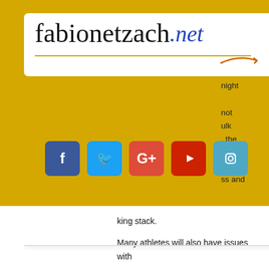[Figure (logo): fabionetzach.net logo on white background with cursive text and orange underline arrow]
[Figure (other): Hamburger menu icon (three horizontal lines)]
[Figure (other): Social media icons row: Facebook, Twitter, Google+, YouTube, Instagram]
[Figure (other): Shopping cart icon with item count badge showing 0]
s night not ulk , the ffect nability ss and that ly a king stack.
Many athletes will also have issues with